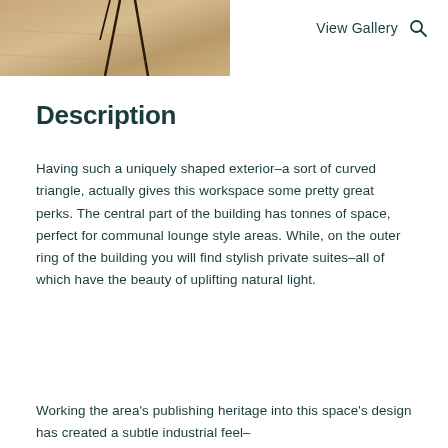[Figure (photo): Interior photo showing a wooden floor with chair legs visible, taken from above/angle view]
View Gallery 🔍
Description
Having such a uniquely shaped exterior–a sort of curved triangle, actually gives this workspace some pretty great perks. The central part of the building has tonnes of space, perfect for communal lounge style areas. While, on the outer ring of the building you will find stylish private suites–all of which have the beauty of uplifting natural light.
Working the area's publishing heritage into this space's design has created a subtle industrial feel–